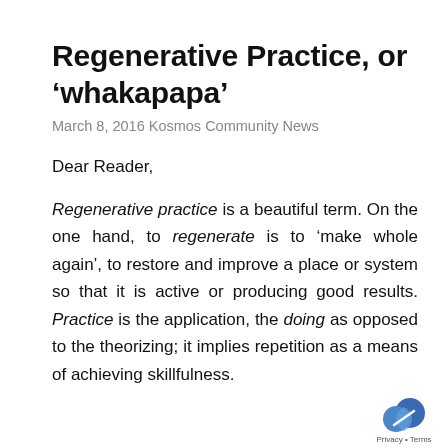Regenerative Practice, or ‘whakapapa’
March 8, 2016 Kosmos Community News
Dear Reader,
Regenerative practice is a beautiful term. On the one hand, to regenerate is to ‘make whole again’, to restore and improve a place or system so that it is active or producing good results. Practice is the application, the doing as opposed to the theorizing; it implies repetition as a means of achieving skillfulness.